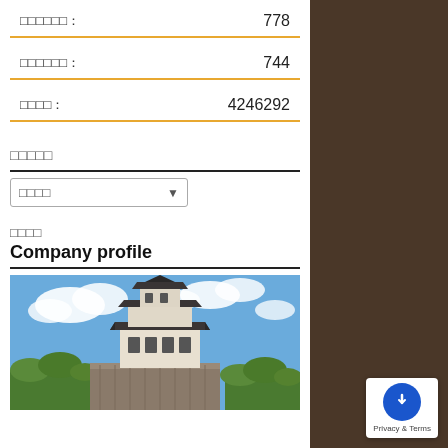□□□□□□: 778
□□□□□□: 744
□□□□: 4246292
□□□□□
□□□□ (dropdown)
□□□□
Company profile
[Figure (photo): Japanese castle (Kokura Castle or similar) with white walls and traditional tiered roofline, against a blue sky with clouds and green trees]